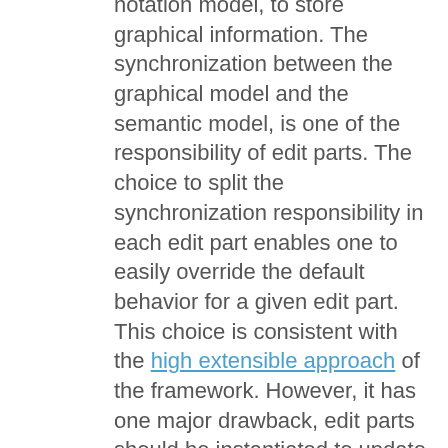notation model, to store graphical information. The synchronization between the graphical model and the semantic model, is one of the responsibility of edit parts. The choice to split the synchronization responsibility in each edit part enables one to easily override the default behavior for a given edit part. This choice is consistent with the high extensible approach of the framework. However, it has one major drawback, edit parts should be instantiated to update the notation model ! As GMF Runtime edit parts creation is done in an post commit listener, when no models changes are allowed, the runtime have to force the transaction using a special option. This behavior prevents one to have triggers for those modifications. If you need to avoid conflicts (see below), you will not be able to acquire lock before commit. In this case it means that one have to extract the synchronization from edit parts and to call it at the right time.